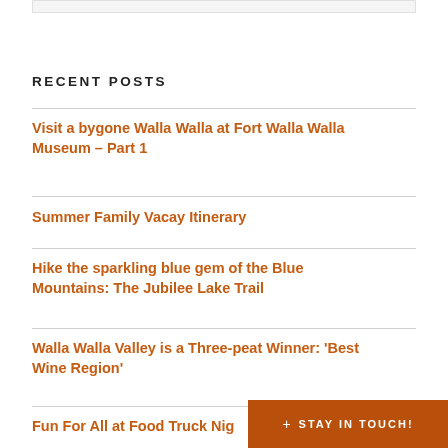RECENT POSTS
Visit a bygone Walla Walla at Fort Walla Walla Museum – Part 1
Summer Family Vacay Itinerary
Hike the sparkling blue gem of the Blue Mountains: The Jubilee Lake Trail
Walla Walla Valley is a Three-peat Winner: 'Best Wine Region'
Fun For All at Food Truck Nig